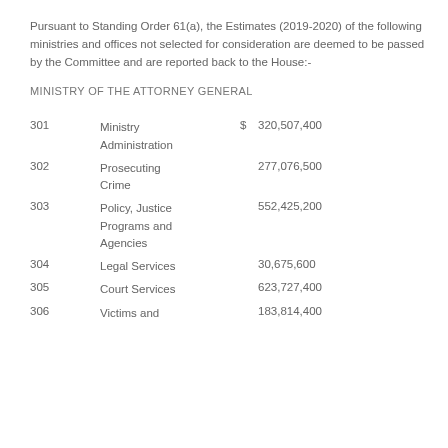Pursuant to Standing Order 61(a), the Estimates (2019-2020) of the following ministries and offices not selected for consideration are deemed to be passed by the Committee and are reported back to the House:-
MINISTRY OF THE ATTORNEY GENERAL
| Vote | Description | $ | Amount |
| --- | --- | --- | --- |
| 301 | Ministry Administration | $ | 320,507,400 |
| 302 | Prosecuting Crime |  | 277,076,500 |
| 303 | Policy, Justice Programs and Agencies |  | 552,425,200 |
| 304 | Legal Services |  | 30,675,600 |
| 305 | Court Services |  | 623,727,400 |
| 306 | Victims and |  | 183,814,400 |